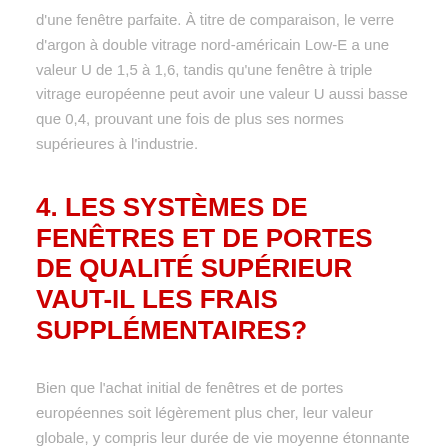d'une fenêtre parfaite. À titre de comparaison, le verre d'argon à double vitrage nord-américain Low-E a une valeur U de 1,5 à 1,6, tandis qu'une fenêtre à triple vitrage européenne peut avoir une valeur U aussi basse que 0,4, prouvant une fois de plus ses normes supérieures à l'industrie.
4. LES SYSTÈMES DE FENÊTRES ET DE PORTES DE QUALITÉ SUPÉRIEUR VAUT-IL LES FRAIS SUPPLÉMENTAIRES?
Bien que l'achat initial de fenêtres et de portes européennes soit légèrement plus cher, leur valeur globale, y compris leur durée de vie moyenne étonnante